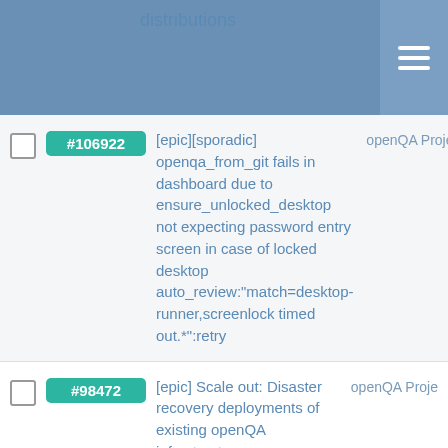distributions
#106922 [epic][sporadic] openqa_from_git fails in dashboard due to ensure_unlocked_desktop not expecting password entry screen in case of locked desktop auto_review:"match=desktop-runner,screenlock timed out.*":retry openQA Proje
#98472 [epic] Scale out: Disaster recovery deployments of existing openQA infrastructures openQA Proje
#97862 More openQA worker hardware for OSD size:M openQA Infrastru
#96539 Conclude migration of QA